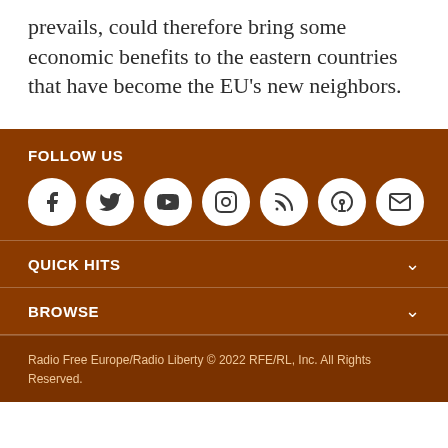prevails, could therefore bring some economic benefits to the eastern countries that have become the EU's new neighbors.
FOLLOW US
[Figure (infographic): Social media icons: Facebook, Twitter, YouTube, Instagram, RSS, Podcast, Email — each in a white circle on brown background]
QUICK HITS
BROWSE
Radio Free Europe/Radio Liberty © 2022 RFE/RL, Inc. All Rights Reserved.